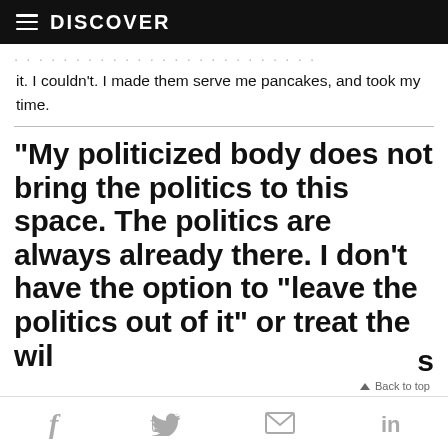DISCOVER
it. I couldn't. I made them serve me pancakes, and took my time.
"My politicized body does not bring the politics to this space. The politics are always already there. I don't have the option to “leave the politics out of it” or treat the wil… s
f  🐦  ✉  in